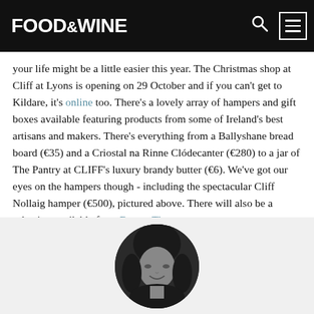FOOD&WINE
your life might be a little easier this year. The Christmas shop at Cliff at Lyons is opening on 29 October and if you can't get to Kildare, it's online too. There's a lovely array of hampers and gift boxes available featuring products from some of Ireland's best artisans and makers. There's everything from a Ballyshane bread board (€35) and a Criostal na Rinne Clódecanter (€280) to a jar of The Pantry at CLIFF's luxury brandy butter (€6). We've got our eyes on the hampers though - including the spectacular Cliff Nollaig hamper (€500), pictured above. There will also be a selection available from Brown Thomas.
[Figure (photo): Circular black and white profile photo of a smiling woman with dark shoulder-length hair on a light grey background]